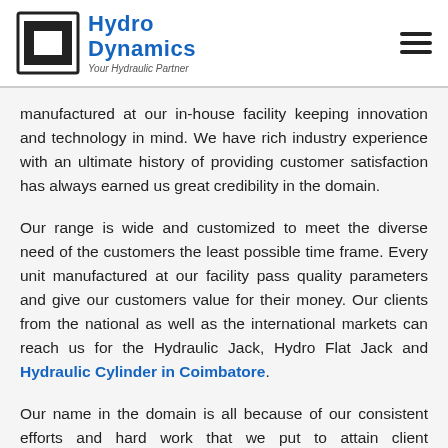Hydro Dynamics — Your Hydraulic Partner
manufactured at our in-house facility keeping innovation and technology in mind. We have rich industry experience with an ultimate history of providing customer satisfaction has always earned us great credibility in the domain.
Our range is wide and customized to meet the diverse need of the customers the least possible time frame. Every unit manufactured at our facility pass quality parameters and give our customers value for their money. Our clients from the national as well as the international markets can reach us for the Hydraulic Jack, Hydro Flat Jack and Hydraulic Cylinder in Coimbatore.
Our name in the domain is all because of our consistent efforts and hard work that we put to attain client satisfaction. Being one of the trusted Hydraulic Power